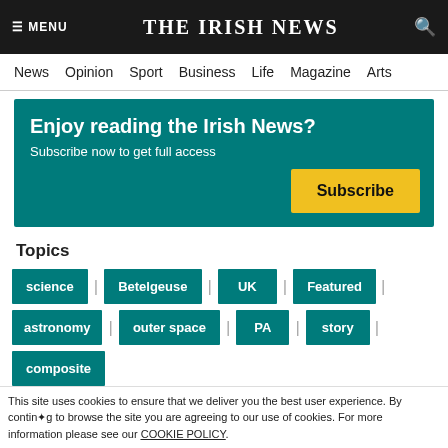≡ MENU   THE IRISH NEWS   🔍
News  Opinion  Sport  Business  Life  Magazine  Arts
Enjoy reading the Irish News?
Subscribe now to get full access
Subscribe
Topics
science
Betelgeuse
UK
Featured
astronomy
outer space
PA
story
composite
Categories
Science
This site uses cookies to ensure that we deliver you the best user experience. By continuing to browse the site you are agreeing to our use of cookies. For more information please see our COOKIE POLICY.